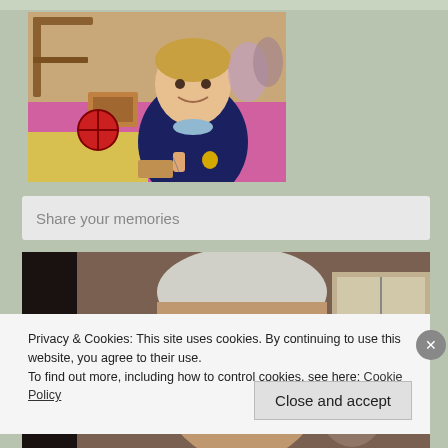[Figure (photo): A young boy smiling, holding a wooden toy cart with red wheels, standing in front of a display of vintage toys and equipment.]
Share your memories
[Figure (photo): An elderly man with grey hair and a hearing aid, partially visible, in an indoor setting.]
Privacy & Cookies: This site uses cookies. By continuing to use this website, you agree to their use.
To find out more, including how to control cookies, see here: Cookie Policy
Close and accept